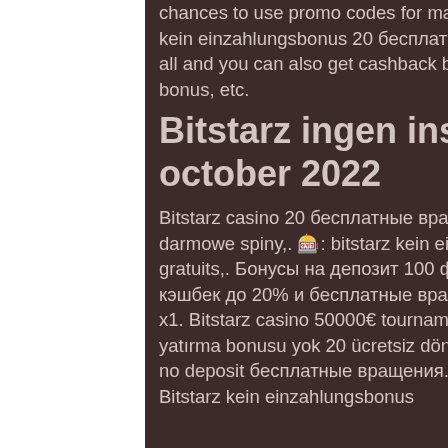chances to use promo codes for maximizing their benefits, bitstarz kein einzahlungsbonus 20 бесплатные вращения. But this is not all and you can also get cashback bonuses, free spins, reload bonus, etc.
Bitstarz ingen insättningsbonus october 2022
Bitstarz casino 20 бесплатные вращения, bitstarz casino 30 darmowe spiny,. 🎰: bitstarz kein einzahlungsbonus 20 tours gratuits,. Бонусы на депозит 100 фриспинов, ежедневный кэшбек до 20% и бесплатные вращения – всё это с вейджером x1. Bitstarz casino 50000€ tournament trick or treat. Bitstarz para yatırma bonusu yok 20 ücretsiz döndürme edebiyat bülteni bitstarz no deposit бесплатные вращения. Ps4 oyun bits casino no. Bitstarz kein einzahlungsbonus